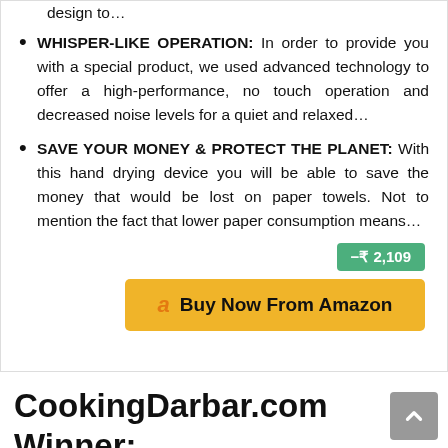design to…
WHISPER-LIKE OPERATION: In order to provide you with a special product, we used advanced technology to offer a high-performance, no touch operation and decreased noise levels for a quiet and relaxed…
SAVE YOUR MONEY & PROTECT THE PLANET: With this hand drying device you will be able to save the money that would be lost on paper towels. Not to mention the fact that lower paper consumption means…
−₹ 2,109
Buy Now From Amazon
CookingDarbar.com Winner: Best Electric Hand Dryers In